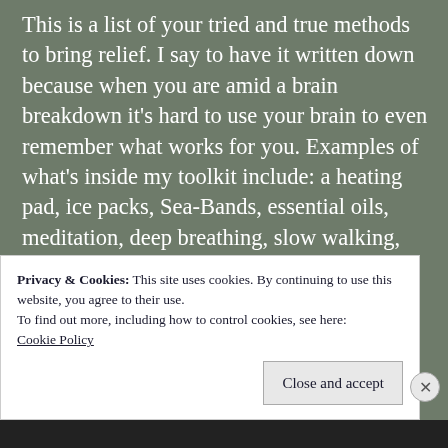This is a list of your tried and true methods to bring relief.  I say to have it written down because when you are amid a brain breakdown it's hard to use your brain to even remember what works for you.  Examples of what's inside my toolkit include: a heating pad, ice packs, Sea-Bands, essential oils, meditation, deep breathing, slow walking, ear plugs, and getting some fresh air.
This is where I use technology to my advantage.
Privacy & Cookies: This site uses cookies. By continuing to use this website, you agree to their use.
To find out more, including how to control cookies, see here:
Cookie Policy
Close and accept